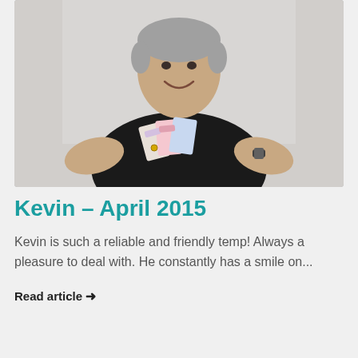[Figure (photo): A smiling middle-aged man in a black t-shirt holding several colourful cards/vouchers, standing against a white wall background.]
Kevin – April 2015
Kevin is such a reliable and friendly temp! Always a pleasure to deal with. He constantly has a smile on...
Read article →